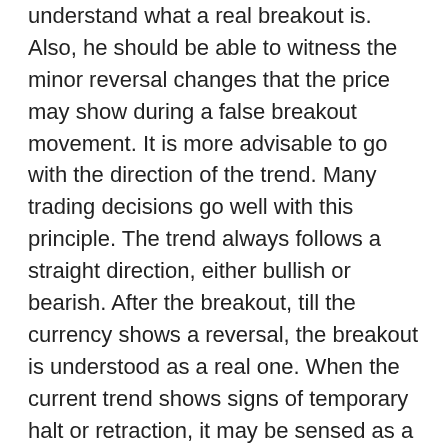understand what a real breakout is. Also, he should be able to witness the minor reversal changes that the price may show during a false breakout movement. It is more advisable to go with the direction of the trend. Many trading decisions go well with this principle. The trend always follows a straight direction, either bullish or bearish. After the breakout, till the currency shows a reversal, the breakout is understood as a real one. When the current trend shows signs of temporary halt or retraction, it may be sensed as a fake breakout.
Also, one may note that false breakouts often have lesser trading volumes. A real breakout shows a huge change in prices upwards or downwards, but a false breakout can show little change in the prices. Also, the change in the prices may not be justified by the change in market indices. While newbies in the market may not